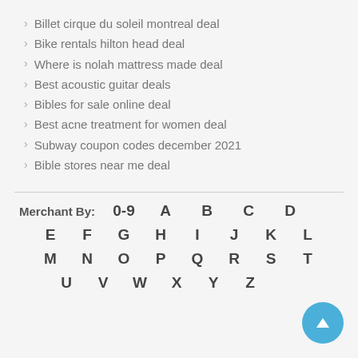Billet cirque du soleil montreal deal
Bike rentals hilton head deal
Where is nolah mattress made deal
Best acoustic guitar deals
Bibles for sale online deal
Best acne treatment for women deal
Subway coupon codes december 2021
Bible stores near me deal
Merchant By:  0-9  A  B  C  D  E  F  G  H  I  J  K  L  M  N  O  P  Q  R  S  T  U  V  W  X  Y  Z